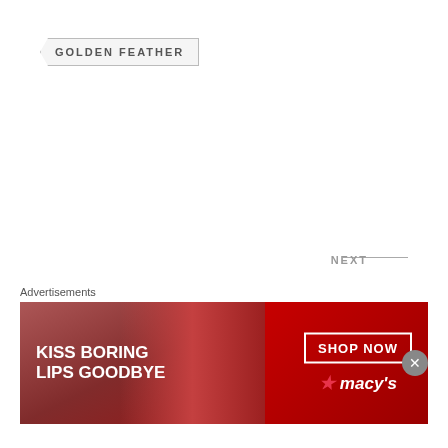GOLDEN FEATHER
PREVIOUS
WHOLEWHEAT CUMIN COOKIES
NEXT
PIZZA SAUCE
Advertisements
[Figure (photo): Macy's advertisement banner with woman's face and red lips, text reading KISS BORING LIPS GOODBYE, SHOP NOW button, and Macy's logo]